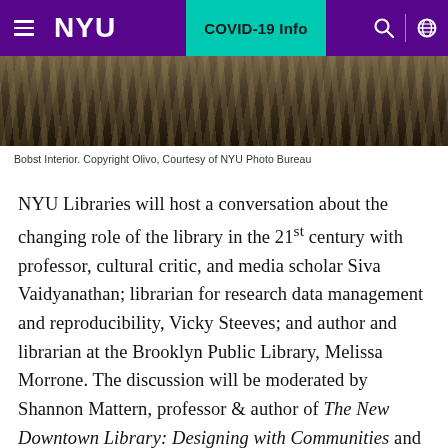NYU | COVID-19 Info
[Figure (photo): Interior photo of NYU Bobst Library, dark toned image showing architectural details]
Bobst Interior. Copyright Olivo, Courtesy of NYU Photo Bureau
NYU Libraries will host a conversation about the changing role of the library in the 21st century with professor, cultural critic, and media scholar Siva Vaidyanathan; librarian for research data management and reproducibility, Vicky Steeves; and author and librarian at the Brooklyn Public Library, Melissa Morrone. The discussion will be moderated by Shannon Mattern, professor & author of The New Downtown Library: Designing with Communities and will be held Wednesday, February 26 at NYU's Elmer Holmes Bobst Library, 8th floor, 70 Washington Square South.